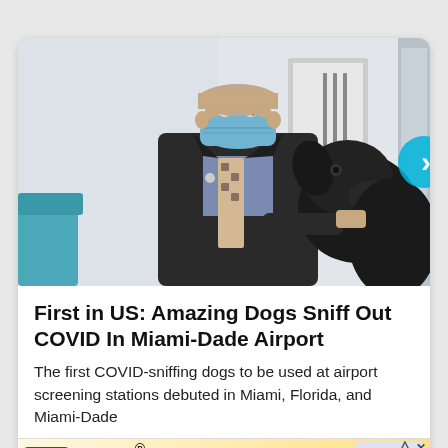[Figure (photo): A person in a dark suit wearing a blue surgical face mask, with a patterned tie, standing next to a large black dog. Background shows an indoor setting with a framed sign on the wall and teal chairs visible.]
First in US: Amazing Dogs Sniff Out COVID In Miami-Dade Airport
The first COVID-sniffing dogs to be used at airport screening stations debuted in Miami, Florida, and Miami-Dade
[Figure (other): Hefty advertisement banner: Hefty logo on left, text 'HEFTY STRONG, FABULOSO FRESH' in large bold letters, Fabuloso brand logo bottom left, Hefty product image on right. Close/dismiss icons top right.]